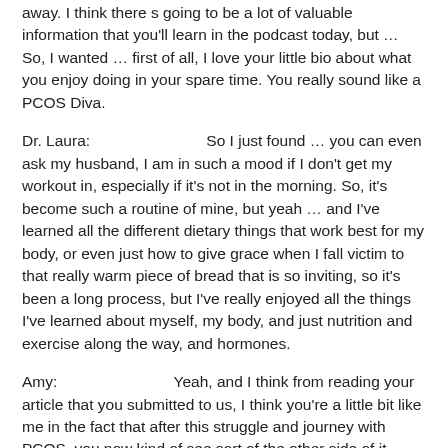away. I think there s going to be a lot of valuable information that you'll learn in the podcast today, but … So, I wanted … first of all, I love your little bio about what you enjoy doing in your spare time. You really sound like a PCOS Diva.
Dr. Laura:		So I just found … you can even ask my husband, I am in such a mood if I don't get my workout in, especially if it's not in the morning. So, it's become such a routine of mine, but yeah … and I've learned all the different dietary things that work best for my body, or even just how to give grace when I fall victim to that really warm piece of bread that is so inviting, so it's been a long process, but I've really enjoyed all the things I've learned about myself, my body, and just nutrition and exercise along the way, and hormones.
Amy:		Yeah, and I think from reading your article that you submitted to us, I think you're a little bit like me in the fact that after this struggle and journey with PCOS, you now kind of see sort of the other side of it